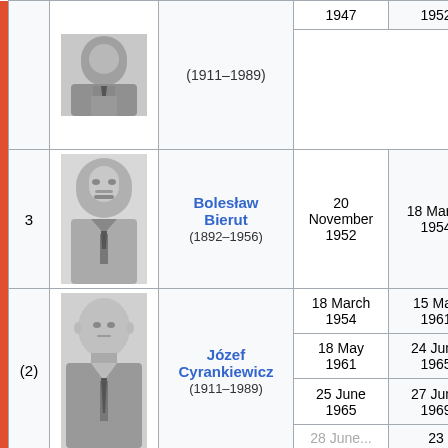| # | Photo | Name | Start | End |
| --- | --- | --- | --- | --- |
|  |  | (1911–1989) | 1947 | 1952 |
| 3 |  | Bolesław Bierut (1892–1956) | 20 November 1952 | 18 March 1954 |
| (2) |  | Józef Cyrankiewicz (1911–1989) | 18 March 1954 | 15 May 1961 |
| (2) |  | Józef Cyrankiewicz (1911–1989) | 18 May 1961 | 24 June 1965 |
| (2) |  | Józef Cyrankiewicz (1911–1989) | 25 June 1965 | 27 June 1969 |
| (2) |  | Józef Cyrankiewicz (1911–1989) | 28 June... | 23 |